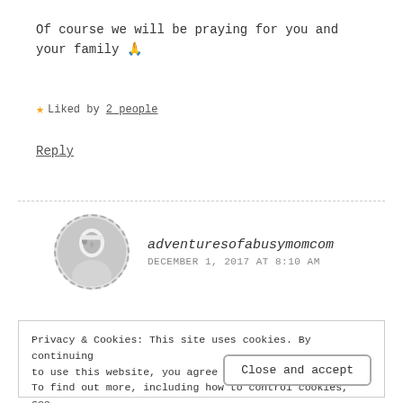Of course we will be praying for you and your family 🙏
★ Liked by 2 people
Reply
adventuresofabusymomcom
DECEMBER 1, 2017 AT 8:10 AM
Privacy & Cookies: This site uses cookies. By continuing to use this website, you agree to their use. To find out more, including how to control cookies, see here: Cookie Policy
Close and accept
guidance. I can't imagine doing it